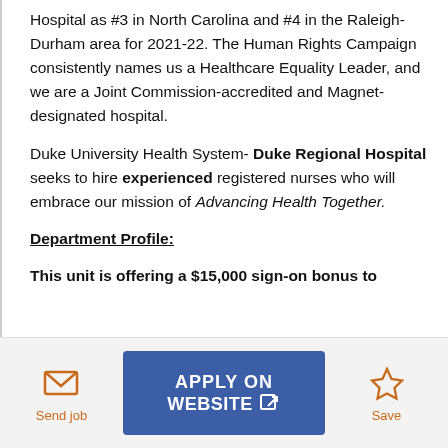Hospital as #3 in North Carolina and #4 in the Raleigh-Durham area for 2021-22. The Human Rights Campaign consistently names us a Healthcare Equality Leader, and we are a Joint Commission-accredited and Magnet-designated hospital.
Duke University Health System- Duke Regional Hospital seeks to hire experienced registered nurses who will embrace our mission of Advancing Health Together.
Department Profile:
This unit is offering a $15,000 sign-on bonus to